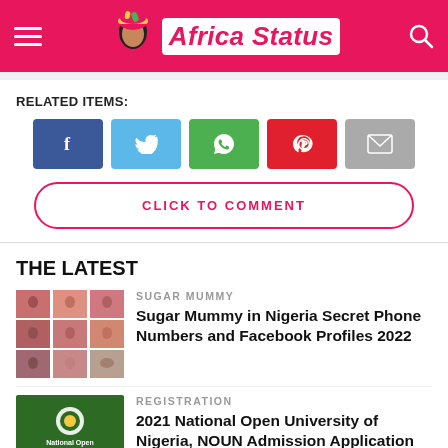Africa Status
RELATED ITEMS:
[Figure (infographic): Social share buttons: Facebook, Twitter, WhatsApp, Pinterest, Email]
CLICK TO COMMENT
THE LATEST
[Figure (photo): Grid collage of photos related to Sugar Mummy article]
SUGAR MUMMY
Sugar Mummy in Nigeria Secret Phone Numbers and Facebook Profiles 2022
[Figure (logo): National Open University of Nigeria logo on green background]
REGISTRATION
2021 National Open University of Nigeria, NOUN Admission Application Form